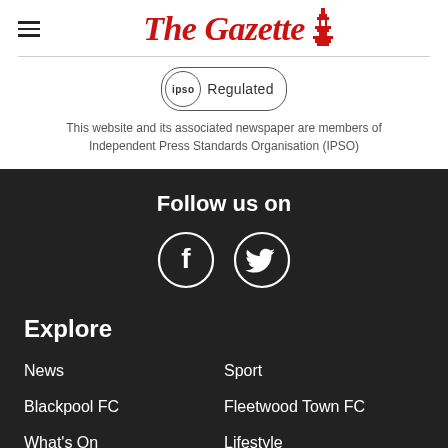The Gazette
[Figure (logo): IPSO Regulated badge - circular logo with text 'ipso' inside a circle and 'Regulated' text in a ribbon/banner shape]
This website and its associated newspaper are members of Independent Press Standards Organisation (IPSO)
Follow us on
[Figure (illustration): Facebook and Twitter social media icons as white circle outlines with white symbols inside, on dark background]
Explore
News
Sport
Blackpool FC
Fleetwood Town FC
What's On
Lifestyle
More from Blackpool Gazette